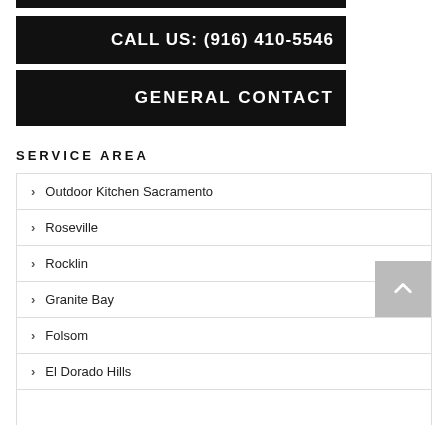CALL US: (916) 410-5546
GENERAL CONTACT
SERVICE AREA
Outdoor Kitchen Sacramento
Roseville
Rocklin
Granite Bay
Folsom
El Dorado Hills